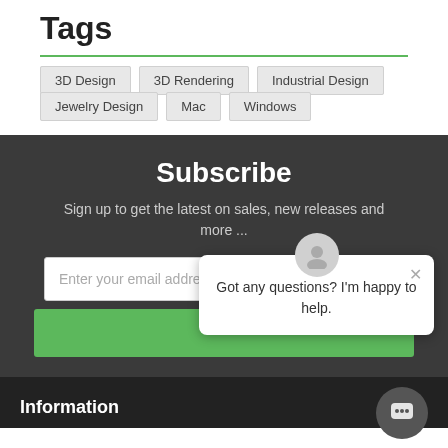Tags
3D Design
3D Rendering
Industrial Design
Jewelry Design
Mac
Windows
Subscribe
Sign up to get the latest on sales, new releases and more ...
Enter your email addre
Got any questions? I'm happy to help.
Information